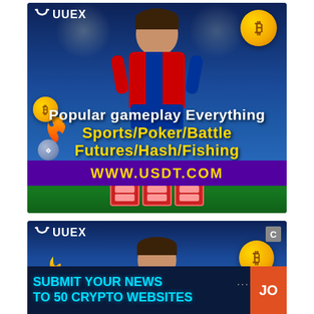[Figure (screenshot): UUEX cryptocurrency gaming advertisement showing a soccer player (Messi), bitcoin coins, slot machines, sports stadium background. Text: Popular gameplay Everything Sports/Poker/Battle Futures/Hash/Fishing WWW.USDT.COM]
[Figure (screenshot): Second UUEX advertisement (partially visible), same branding with soccer player and bitcoin coins, with overlay banner: SUBMIT YOUR NEWS TO 50 CRYPTO WEBSITES and orange JO button]